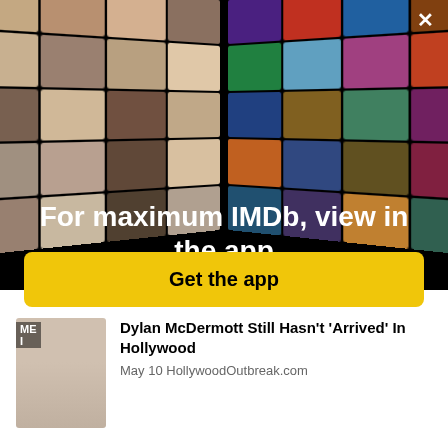[Figure (screenshot): IMDb app promotional overlay showing a collage of celebrity photos on the left and movie posters on the right, arranged in a perspective grid on a black background, with a close (X) button in the top right corner.]
For maximum IMDb, view in the app
Get the app
[Figure (photo): Thumbnail photo of Dylan McDermott, a man with dark hair wearing a suit, partially overlaid with text 'ME' and 'I'.]
Dylan McDermott Still Hasn't 'Arrived' In Hollywood
May 10  HollywoodOutbreak.com